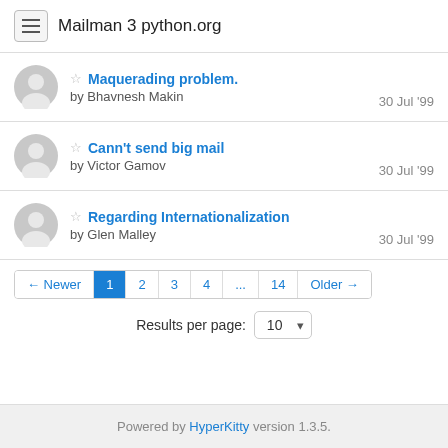Mailman 3 python.org
Maquerading problem. by Bhavnesh Makin — 30 Jul '99
Cann't send big mail by Victor Gamov — 30 Jul '99
Regarding Internationalization by Glen Malley — 30 Jul '99
← Newer 1 2 3 4 ... 14 Older →
Results per page: 10
Powered by HyperKitty version 1.3.5.